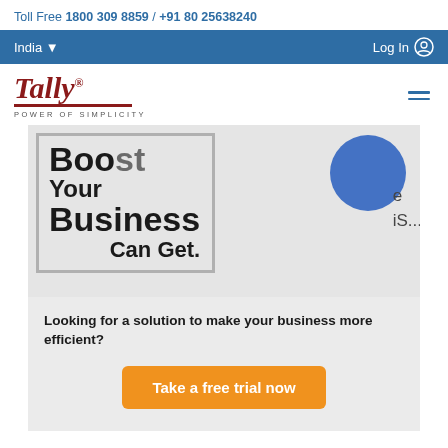Toll Free 1800 309 8859 / +91 80 25638240
India ▾   Log In
[Figure (logo): Tally logo with tagline POWER OF SIMPLICITY]
[Figure (illustration): Banner image showing text 'Boost Your Business Can Get.' with a blue circle graphic and partial text on the right side]
Looking for a solution to make your business more efficient?
Take a free trial now